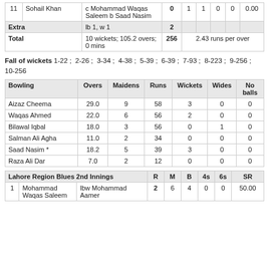| # | Name | How out | R | M | B | 4s | 6s | SR |
| --- | --- | --- | --- | --- | --- | --- | --- | --- |
| 11 | Sohail Khan | c Mohammad Waqas Saleem b Saad Nasim | 0 | 1 | 1 | 0 | 0 | 0.00 |
| Extra |  | lb 1, w 1 | 2 |  |  |  |  |  |
| Total |  | 10 wickets; 105.2 overs; 0 mins | 256 |  |  | 2.43 runs per over |  |  |
Fall of wickets 1-22 ; 2-26 ; 3-34 ; 4-38 ; 5-39 ; 6-39 ; 7-93 ; 8-223 ; 9-256 ; 10-256
| Bowling | Overs | Maidens | Runs | Wickets | Wides | No balls |
| --- | --- | --- | --- | --- | --- | --- |
| Aizaz Cheema | 29.0 | 9 | 58 | 3 | 0 | 0 |
| Waqas Ahmed | 22.0 | 6 | 56 | 2 | 0 | 0 |
| Bilawal Iqbal | 18.0 | 3 | 56 | 0 | 1 | 0 |
| Salman Ali Agha | 11.0 | 2 | 34 | 0 | 0 | 0 |
| Saad Nasim * | 18.2 | 5 | 39 | 3 | 0 | 0 |
| Raza Ali Dar | 7.0 | 2 | 12 | 0 | 0 | 0 |
| Lahore Region Blues 2nd Innings |  | R | M | B | 4s | 6s | SR |
| --- | --- | --- | --- | --- | --- | --- | --- |
| 1 | Mohammad Waqas Saleem | lbw Mohammad Aamer | 2 | 6 | 4 | 0 | 0 | 50.00 |